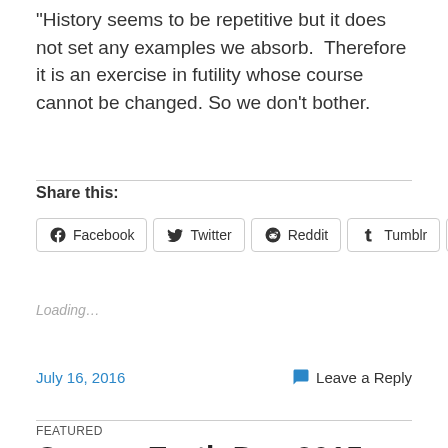“History seems to be repetitive but it does not set any examples we absorb. Therefore it is an exercise in futility whose course cannot be changed. So we don’t bother.
Share this:
Facebook  Twitter  Reddit  Tumblr  More
Loading…
July 16, 2016
Leave a Reply
FEATURED
Crappy Earth Day 2015